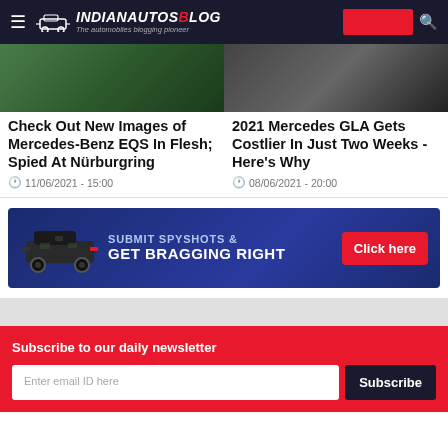IndianAutosBlog – The automobiles blogging pioneer
[Figure (photo): Partially visible photo of Mercedes-Benz EQS car, dark green/forest background]
[Figure (photo): Partially visible photo of a dark car on road]
Check Out New Images of Mercedes-Benz EQS In Flesh; Spied At Nürburgring
11/06/2021 - 15:00
2021 Mercedes GLA Gets Costlier In Just Two Weeks - Here's Why
08/06/2021 - 20:00
[Figure (infographic): Submit Spyshots & Get Bragging Right – Click here. Banner ad with car image on dark blue background.]
Subscribe to our daily newsletter
Enter email ID here
Subscribe